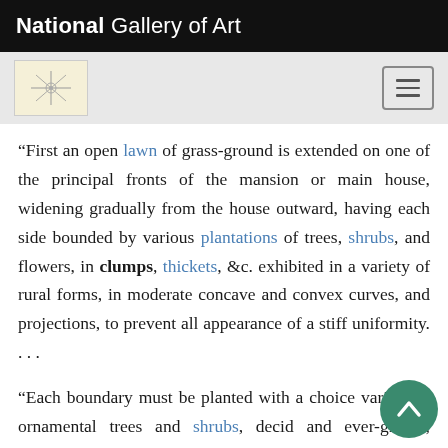National Gallery of Art
“First an open lawn of grass-ground is extended on one of the principal fronts of the mansion or main house, widening gradually from the house outward, having each side bounded by various plantations of trees, shrubs, and flowers, in clumps, thickets, &c. exhibited in a variety of rural forms, in moderate concave and convex curves, and projections, to prevent all appearance of a stiff uniformity. . . .
“Each boundary must be planted with a choice variety of ornamental trees and shrubs, deciduous and ever-greens, arranged principally in several clumps; some consisting of lofty trees, others